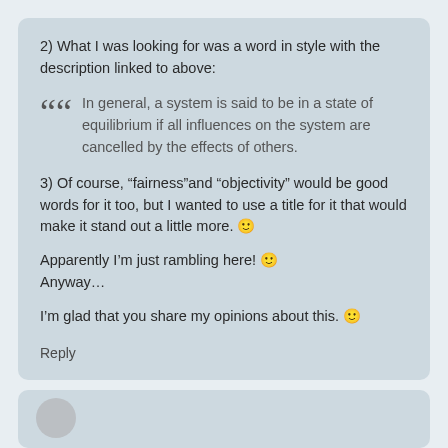2) What I was looking for was a word in style with the description linked to above:
In general, a system is said to be in a state of equilibrium if all influences on the system are cancelled by the effects of others.
3) Of course, “fairness”and “objectivity” would be good words for it too, but I wanted to use a title for it that would make it stand out a little more. 🙂
Apparently I’m just rambling here! 🙂
Anyway…
I’m glad that you share my opinions about this. 🙂
Reply